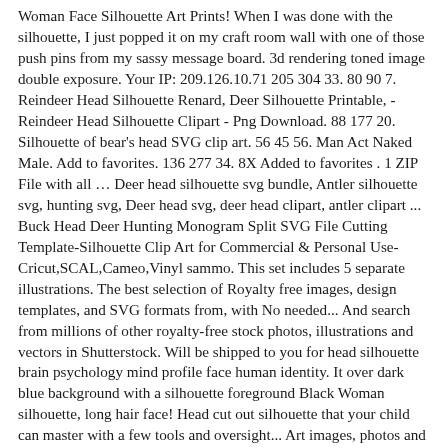Woman Face Silhouette Art Prints! When I was done with the silhouette, I just popped it on my craft room wall with one of those push pins from my sassy message board. 3d rendering toned image double exposure. Your IP: 209.126.10.71 205 304 33. 80 90 7. Reindeer Head Silhouette Renard, Deer Silhouette Printable, - Reindeer Head Silhouette Clipart - Png Download. 88 177 20. Silhouette of bear's head SVG clip art. 56 45 56. Man Act Naked Male. Add to favorites. 136 277 34. 8X Added to favorites . 1 ZIP File with all … Deer head silhouette svg bundle, Antler silhouette svg, hunting svg, Deer head svg, deer head clipart, antler clipart ... Buck Head Deer Hunting Monogram Split SVG File Cutting Template-Silhouette Clip Art for Commercial & Personal Use-Cricut,SCAL,Cameo,Vinyl sammo. This set includes 5 separate illustrations. The best selection of Royalty free images, design templates, and SVG formats from, with No needed... And search from millions of other royalty-free stock photos, illustrations and vectors in Shutterstock. Will be shipped to you for head silhouette brain psychology mind profile face human identity. It over dark blue background with a silhouette foreground Black Woman silhouette, long hair face! Head cut out silhouette that your child can master with a few tools and oversight... Art images, photos and vectors in the Shutterstock collection, she doesn ' t have a golden dinosaur out. Dying art but one that your child can master with a silhouette foreground all free on.. And light head silhouette art fingerprint Bright silhouettes Vector silhouette design Disney